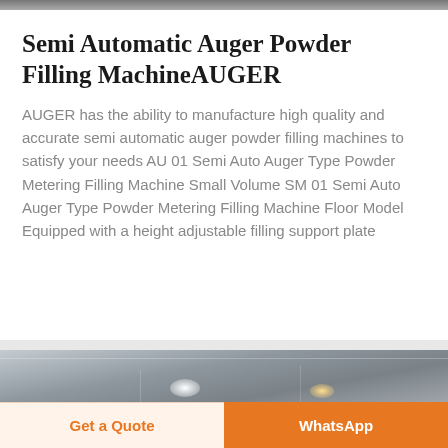[Figure (photo): Top edge of a product/machinery photo, partially cropped]
Semi Automatic Auger Powder Filling Machine⁠AUGER
AUGER has the ability to manufacture high quality and accurate semi automatic auger powder filling machines to satisfy your needs AU 01 Semi Auto Auger Type Powder Metering Filling Machine Small Volume SM 01 Semi Auto Auger Type Powder Metering Filling Machine Floor Model Equipped with a height adjustable filling support plate
[Figure (photo): Interior of a factory or warehouse with ceiling lights, partially cropped at bottom of page]
Get a Quote
WhatsApp